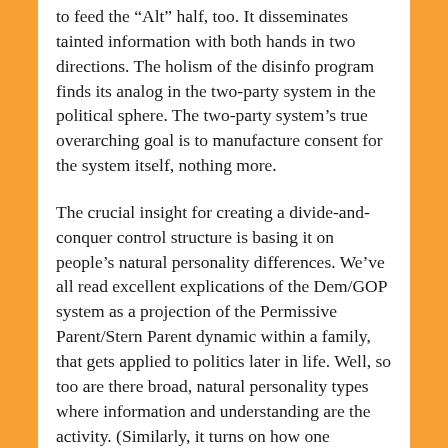to feed the "Alt" half, too. It disseminates tainted information with both hands in two directions. The holism of the disinfo program finds its analog in the two-party system in the political sphere. The two-party system's true overarching goal is to manufacture consent for the system itself, nothing more.
The crucial insight for creating a divide-and-conquer control structure is basing it on people's natural personality differences. We've all read excellent explications of the Dem/GOP system as a projection of the Permissive Parent/Stern Parent dynamic within a family, that gets applied to politics later in life. Well, so too are there broad, natural personality types where information and understanding are the activity. (Similarly, it turns on how one interacts with authority: trust versus distrust. This is probably grounded in a Competent